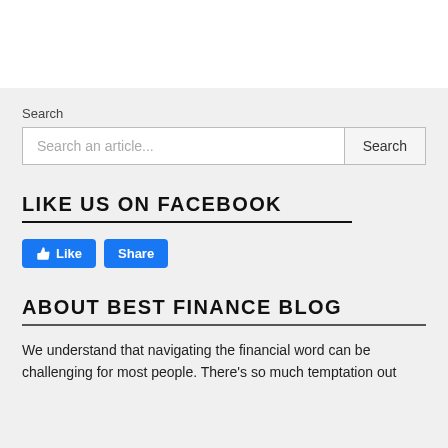[Figure (other): White header/banner area at top of page]
Search
[Figure (screenshot): Search bar with placeholder 'Search an article...' and a Search button]
LIKE US ON FACEBOOK
[Figure (other): Facebook Like and Share buttons]
ABOUT BEST FINANCE BLOG
We understand that navigating the financial word can be challenging for most people. There's so much temptation out